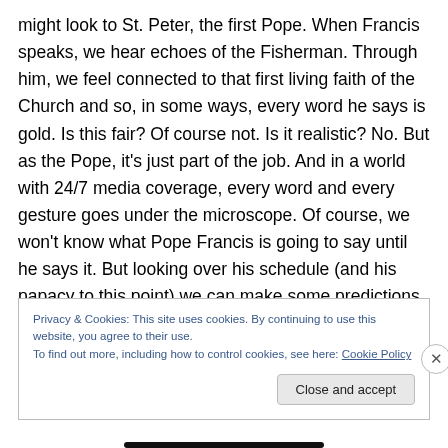might look to St. Peter, the first Pope. When Francis speaks, we hear echoes of the Fisherman. Through him, we feel connected to that first living faith of the Church and so, in some ways, every word he says is gold. Is this fair? Of course not. Is it realistic? No. But as the Pope, it's just part of the job. And in a world with 24/7 media coverage, every word and every gesture goes under the microscope. Of course, we won't know what Pope Francis is going to say until he says it. But looking over his schedule (and his papacy to this point) we can make some predictions about the theme of this visit. If we do that, maybe we won't be so
Privacy & Cookies: This site uses cookies. By continuing to use this website, you agree to their use.
To find out more, including how to control cookies, see here: Cookie Policy